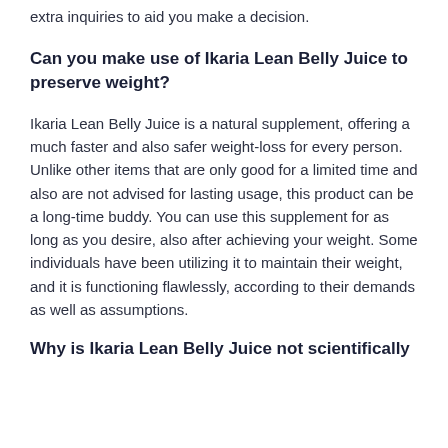extra inquiries to aid you make a decision.
Can you make use of Ikaria Lean Belly Juice to preserve weight?
Ikaria Lean Belly Juice is a natural supplement, offering a much faster and also safer weight-loss for every person. Unlike other items that are only good for a limited time and also are not advised for lasting usage, this product can be a long-time buddy. You can use this supplement for as long as you desire, also after achieving your weight. Some individuals have been utilizing it to maintain their weight, and it is functioning flawlessly, according to their demands as well as assumptions.
Why is Ikaria Lean Belly Juice not scientifically